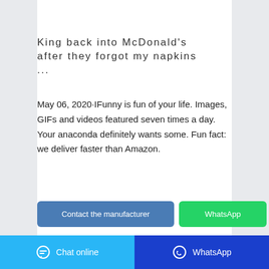[Figure (photo): Partial image at top of card, light gray/white background with some shapes visible]
King back into McDonald's after they forgot my napkins ...
May 06, 2020·IFunny is fun of your life. Images, GIFs and videos featured seven times a day. Your anaconda definitely wants some. Fun fact: we deliver faster than Amazon.
[Figure (screenshot): Contact the manufacturer button (blue) and WhatsApp button (green) and cyan chat bubble button]
[Figure (screenshot): Gray bar at bottom of card]
Chat online   WhatsApp